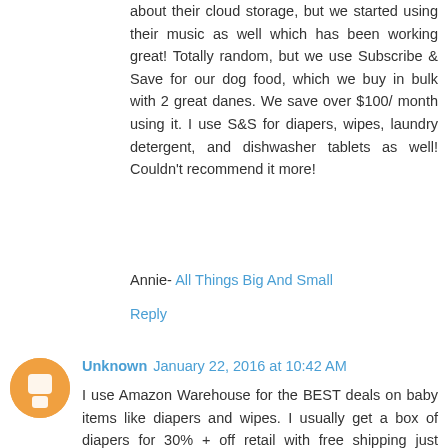about their cloud storage, but we started using their music as well which has been working great! Totally random, but we use Subscribe & Save for our dog food, which we buy in bulk with 2 great danes. We save over $100/ month using it. I use S&S for diapers, wipes, laundry detergent, and dishwasher tablets as well! Couldn't recommend it more!
Annie- All Things Big And Small
Reply
Unknown January 22, 2016 at 10:42 AM
I use Amazon Warehouse for the BEST deals on baby items like diapers and wipes. I usually get a box of diapers for 30% + off retail with free shipping just because the exterior of the box might not be in perfect condition.
Reply
Owen Davis @ Davis Duo January 22, 2016 at 10:43 AM
Go panthers!!! So so excited for Sunday, hoping they can